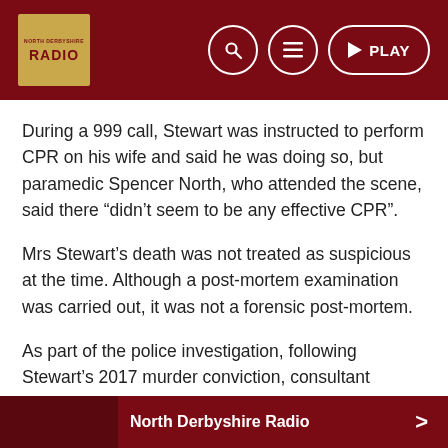RADIO | Search | Menu | PLAY
During a 999 call, Stewart was instructed to perform CPR on his wife and said he was doing so, but paramedic Spencer North, who attended the scene, said there “didn’t seem to be any effective CPR”.
Mrs Stewart’s death was not treated as suspicious at the time. Although a post-mortem examination was carried out, it was not a forensic post-mortem.
As part of the police investigation, following Stewart’s 2017 murder conviction, consultant neuropathologist Professor Safa Al-Sarraj was asked to examine preserved parts of Mrs Stewart’s brain, which had been donated to medical science.
Prof Al-Sarraj said there was evidence that Mrs Stewart’s brain
North Derbyshire Radio